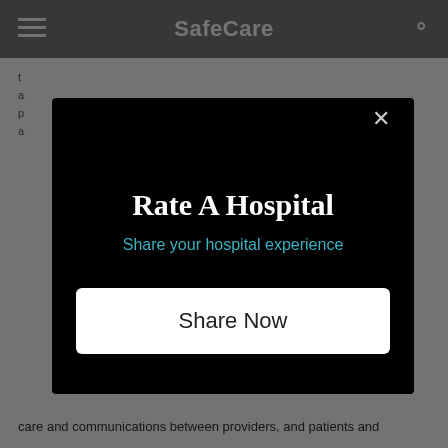SafeCare
care and communications between providers, and patients and
[Figure (screenshot): Modal dialog on a mobile app or website with black background. Title reads 'Rate A Hospital' in white bold serif font. Subtitle reads 'Share your hospital experience' in teal/cyan color. A white button labeled 'Share Now' is displayed below. A close (×) button is in the top right of the modal.]